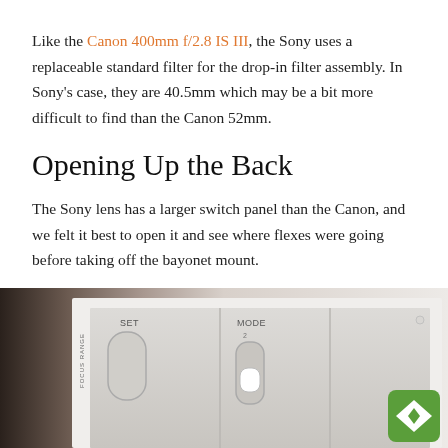Like the Canon 400mm f/2.8 IS III, the Sony uses a replaceable standard filter for the drop-in filter assembly. In Sony's case, they are 40.5mm which may be a bit more difficult to find than the Canon 52mm.
Opening Up the Back
The Sony lens has a larger switch panel than the Canon, and we felt it best to open it and see where flexes were going before taking off the bayonet mount.
[Figure (photo): Close-up photo of a camera lens switch panel showing SET button and MODE switch against a blurred dark background. A green diamond badge logo is visible in the bottom right corner.]